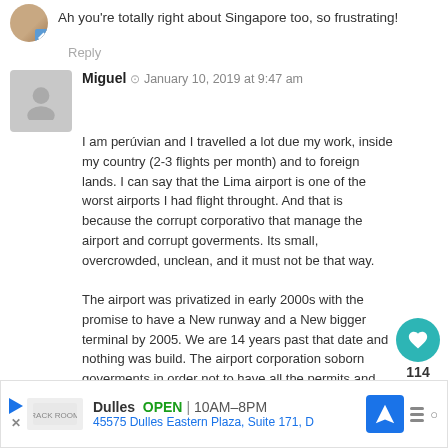Ah you're totally right about Singapore too, so frustrating!
Reply
Miguel  ⊙  January 10, 2019 at 9:47 am
I am perúvian and I travelled a lot due my work, inside my country (2-3 flights per month) and to foreign lands. I can say that the Lima airport is one of the worst airports I had flight throught. And that is because the corrupt corporativo that manage the airport and corrupt goverments. Its small, overcrowded, unclean, and it must not be that way.
The airport was privatized in early 2000s with the promise to have a New runway and a New bigger terminal by 2005. We are 14 years past that date and nothing was build. The airport corporation soborn goverments in order not to have all the permits and facilities needed to build the aforementioned runway and terminal, and to continúe milking the old airport without investing a dime.
Reply
114
[Figure (screenshot): Ad banner for Dulles store: OPEN 10AM-8PM, 45575 Dulles Eastern Plaza, Suite 171, D]